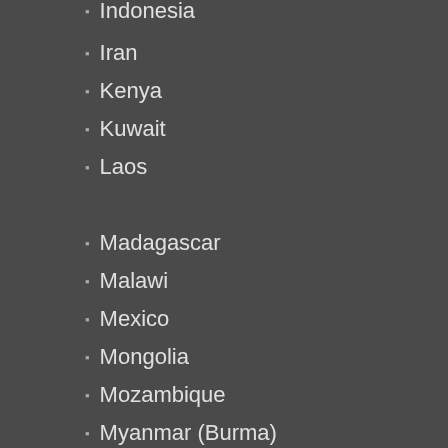Indonesia
Iran
Kenya
Kuwait
Laos
Madagascar
Malawi
Mexico
Mongolia
Mozambique
Myanmar (Burma)
Nepal